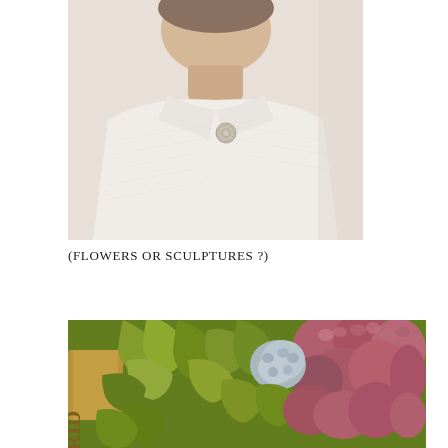[Figure (photo): Close-up photograph of a person wearing a white/cream textured jacket or coat with a decorative brooch, likely at a formal event]
(FLOWERS OR SCULPTURES ?)
[Figure (photo): Close-up photograph of colorful hydrangea flowers — green, pink, and blue blooms — with a ribbon or sash visible on the left side partially showing letters 'BRID']